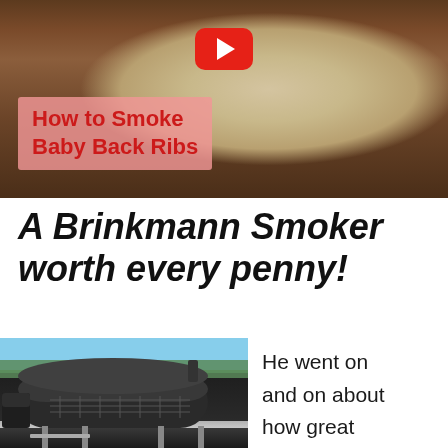[Figure (screenshot): YouTube video thumbnail showing smoked baby back ribs on a decorative plate with a YouTube play button overlay and text 'How to Smoke Baby Back Ribs' on a pink/red background label]
A Brinkmann Smoker worth every penny!
[Figure (photo): Photo of a Brinkmann offset smoker/grill with open lid showing grill grates, positioned on an outdoor deck with trees visible in background]
He went on and on about how great they tasted and he had never had